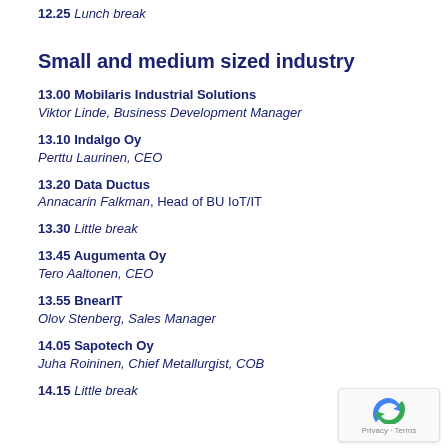12.25 Lunch break
Small and medium sized industry
13.00 Mobilaris Industrial Solutions
Viktor Linde, Business Development Manager
13.10 Indalgo Oy
Perttu Laurinen, CEO
13.20 Data Ductus
Annacarin Falkman, Head of BU IoT/IT
13.30 Little break
13.45 Augumenta Oy
Tero Aaltonen, CEO
13.55 BnearIT
Olov Stenberg, Sales Manager
14.05 Sapotech Oy
Juha Roininen, Chief Metallurgist, COB
14.15 Little break